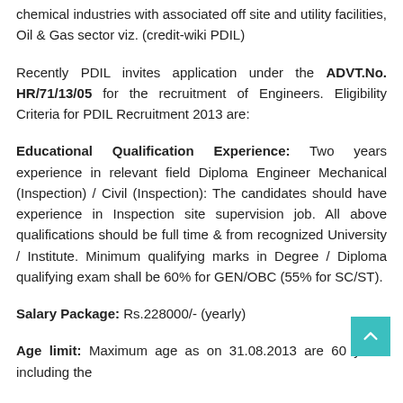chemical industries with associated off site and utility facilities, Oil & Gas sector viz. (credit-wiki PDIL)
Recently PDIL invites application under the ADVT.No. HR/71/13/05 for the recruitment of Engineers. Eligibility Criteria for PDIL Recruitment 2013 are:
Educational Qualification Experience: Two years experience in relevant field Diploma Engineer Mechanical (Inspection) / Civil (Inspection): The candidates should have experience in Inspection site supervision job. All above qualifications should be full time & from recognized University / Institute. Minimum qualifying marks in Degree / Diploma qualifying exam shall be 60% for GEN/OBC (55% for SC/ST).
Salary Package: Rs.228000/- (yearly)
Age limit: Maximum age as on 31.08.2013 are 60 years including the